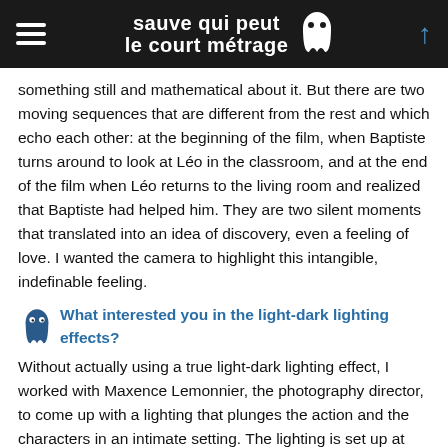sauve qui peut le court métrage
something still and mathematical about it. But there are two moving sequences that are different from the rest and which echo each other: at the beginning of the film, when Baptiste turns around to look at Léo in the classroom, and at the end of the film when Léo returns to the living room and realized that Baptiste had helped him. They are two silent moments that translated into an idea of discovery, even a feeling of love. I wanted the camera to highlight this intangible, indefinable feeling.
What interested you in the light-dark lighting effects?
Without actually using a true light-dark lighting effect, I worked with Maxence Lemonnier, the photography director, to come up with a lighting that plunges the action and the characters in an intimate setting. The lighting is set up at fixed points, and brings out the faces to cause a suspension in time and to bring the bodies closer, resulting in a disconnection between the meeting space and the rest of the world. Using zones of shadows and darkness, we also wanted to instill a certain mystery so that the